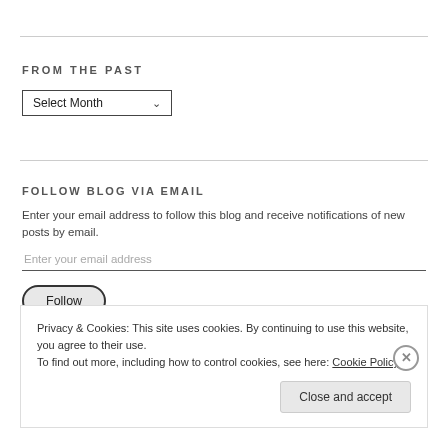FROM THE PAST
[Figure (other): Dropdown select box showing 'Select Month' with a chevron arrow]
FOLLOW BLOG VIA EMAIL
Enter your email address to follow this blog and receive notifications of new posts by email.
[Figure (other): Email input field with placeholder 'Enter your email address' and a Follow button with rounded border]
Privacy & Cookies: This site uses cookies. By continuing to use this website, you agree to their use.
To find out more, including how to control cookies, see here: Cookie Policy